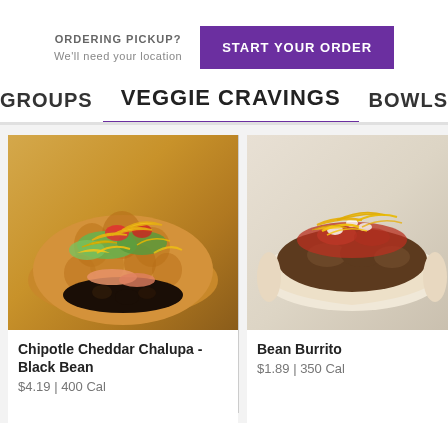ORDERING PICKUP?
We'll need your location
START YOUR ORDER
GROUPS
VEGGIE CRAVINGS
BOWLS
[Figure (photo): Chipotle Cheddar Chalupa with black beans, shredded cheese, lettuce, and tomato]
Chipotle Cheddar Chalupa - Black Bean
$4.19 | 400 Cal
[Figure (photo): Bean Burrito with refried beans, shredded cheddar cheese, and red sauce in a flour tortilla]
Bean Burrito
$1.89 | 350 Cal